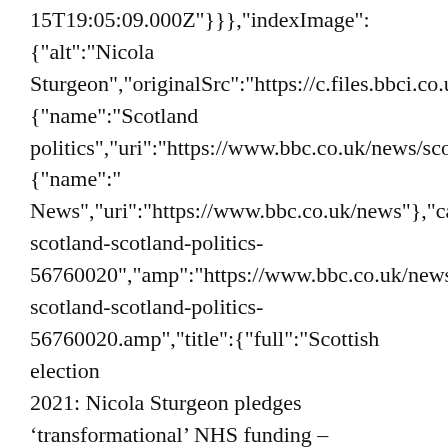15T19:05:09.000Z"}}},"indexImage":{"alt":"Nicola Sturgeon","originalSrc":"https://c.files.bbci.co.uk/ {"name":"Scotland politics","uri":"https://www.bbc.co.uk/news/scotla {"name":" News","uri":"https://www.bbc.co.uk/news"},"canon scotland-scotland-politics-56760020","amp":"https://www.bbc.co.uk/news/uk scotland-scotland-politics-56760020.amp","title":{"full":"Scottish election 2021: Nicola Sturgeon pledges ‘transformational’ NHS funding – News","short":"Scottish election 2021: Nicola Sturgeon pledges ‘transformational’ NHS